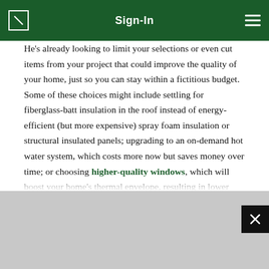Sign-In
He's already looking to limit your selections or even cut items from your project that could improve the quality of your home, just so you can stay within a fictitious budget. Some of these choices might include settling for fiberglass-batt insulation in the roof instead of energy-efficient (but more expensive) spray foam insulation or structural insulated panels; upgrading to an on-demand hot water system, which costs more now but saves money over time; or choosing higher-quality windows, which will boost your home's thermal envelope, resulting in lower energy bills. A better approach is to be honest with the total amount you have to invest, broken down by how much you'd like to spend upfront and how much of that number is set aside as a